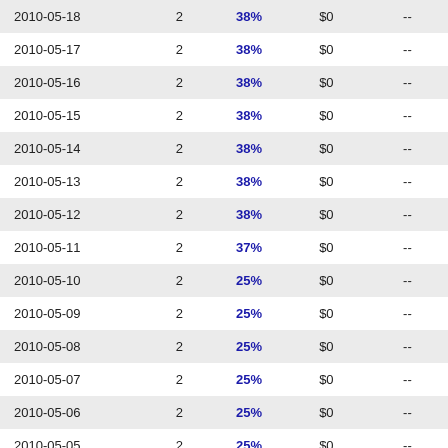| 2010-05-18 | 2 | 38% | $0 | -- |
| 2010-05-17 | 2 | 38% | $0 | -- |
| 2010-05-16 | 2 | 38% | $0 | -- |
| 2010-05-15 | 2 | 38% | $0 | -- |
| 2010-05-14 | 2 | 38% | $0 | -- |
| 2010-05-13 | 2 | 38% | $0 | -- |
| 2010-05-12 | 2 | 38% | $0 | -- |
| 2010-05-11 | 2 | 37% | $0 | -- |
| 2010-05-10 | 2 | 25% | $0 | -- |
| 2010-05-09 | 2 | 25% | $0 | -- |
| 2010-05-08 | 2 | 25% | $0 | -- |
| 2010-05-07 | 2 | 25% | $0 | -- |
| 2010-05-06 | 2 | 25% | $0 | -- |
| 2010-05-05 | 2 | 25% | $0 | -- |
| 2010-05-04 | 2 | 25% | $0 | -- |
| 2010-05-03 | 2 | 25% | $0 | -- |